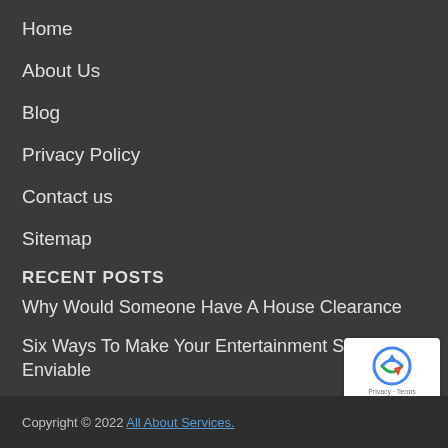Home
About Us
Blog
Privacy Policy
Contact us
Sitemap
RECENT POSTS
Why Would Someone Have A House Clearance
Six Ways To Make Your Entertainment Space Enviable
What are the advantages of buying a bucket truck from Socage?
Copyright © 2022 All About Services.